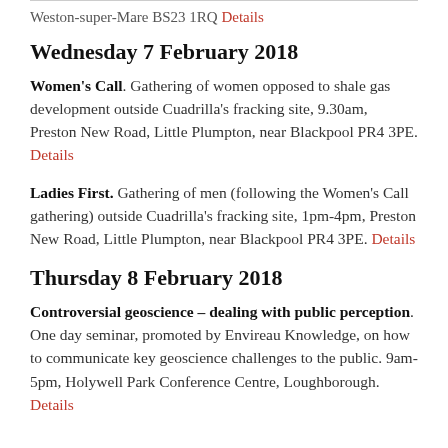Weston-super-Mare BS23 1RQ Details
Wednesday 7 February 2018
Women's Call. Gathering of women opposed to shale gas development outside Cuadrilla's fracking site, 9.30am, Preston New Road, Little Plumpton, near Blackpool PR4 3PE. Details
Ladies First. Gathering of men (following the Women's Call gathering) outside Cuadrilla's fracking site, 1pm-4pm, Preston New Road, Little Plumpton, near Blackpool PR4 3PE. Details
Thursday 8 February 2018
Controversial geoscience – dealing with public perception. One day seminar, promoted by Envireau Knowledge, on how to communicate key geoscience challenges to the public. 9am-5pm, Holywell Park Conference Centre, Loughborough. Details